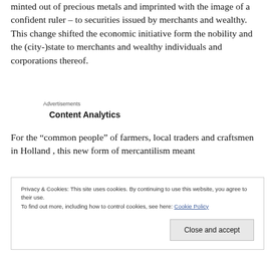minted out of precious metals and imprinted with the image of a confident ruler – to securities issued by merchants and wealthy. This change shifted the economic initiative form the nobility and the (city-)state to merchants and wealthy individuals and corporations thereof.
Advertisements
Content Analytics
For the “common people” of farmers, local traders and craftsmen in Holland , this new form of mercantilism meant
Privacy & Cookies: This site uses cookies. By continuing to use this website, you agree to their use.
To find out more, including how to control cookies, see here: Cookie Policy